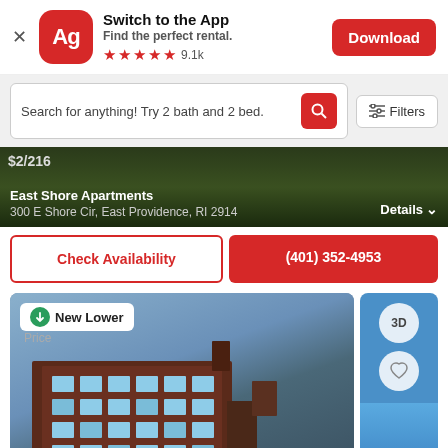[Figure (screenshot): App banner with Ag logo, Switch to the App title, Find the perfect rental subtitle, 5 red stars and 9.1k rating, Download button]
[Figure (screenshot): Search bar with text 'Search for anything! Try 2 bath and 2 bed.' with red search button and Filters button]
[Figure (screenshot): Listing card for East Shore Apartments at 300 E Shore Cir, East Providence, RI 2914 with Details dropdown and dark background photo]
Check Availability
(401) 352-4953
[Figure (screenshot): New Lower Price badge on a brick apartment building photo, with 3D and heart icons on the right side panel]